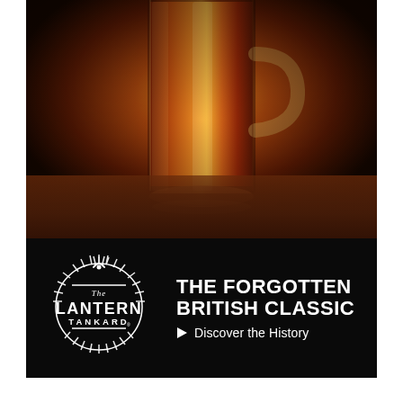[Figure (photo): Close-up photo of a glass beer tankard filled with amber/red ale, sitting on a dark wooden surface. The glass has a handle on the right side, and warm amber light illuminates the beer from within.]
[Figure (logo): The Lantern Tankard logo: circular emblem with radiating lines like a lantern or sun, text reading 'The Lantern TANKARD' in white on black background.]
THE FORGOTTEN BRITISH CLASSIC
▶ Discover the History